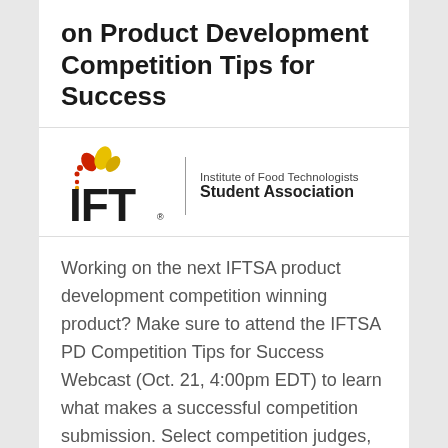on Product Development Competition Tips for Success
[Figure (logo): IFT (Institute of Food Technologists) Student Association logo with red and yellow leaf/dot icon above the IFT wordmark, a vertical divider, and the text 'Institute of Food Technologists Student Association']
Working on the next IFTSA product development competition winning product? Make sure to attend the IFTSA PD Competition Tips for Success Webcast (Oct. 21, 4:00pm EDT) to learn what makes a successful competition submission. Select competition judges, sponsors, and…